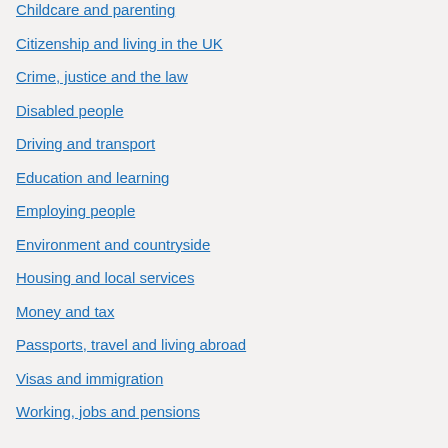Childcare and parenting
Citizenship and living in the UK
Crime, justice and the law
Disabled people
Driving and transport
Education and learning
Employing people
Environment and countryside
Housing and local services
Money and tax
Passports, travel and living abroad
Visas and immigration
Working, jobs and pensions
Government activity